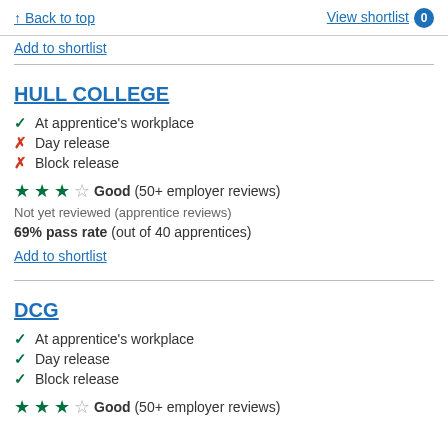↑ Back to top    View shortlist 0
Add to shortlist
HULL COLLEGE
✓ At apprentice's workplace
✗ Day release
✗ Block release
★★★☆ Good (50+ employer reviews)
Not yet reviewed (apprentice reviews)
69% pass rate (out of 40 apprentices)
Add to shortlist
DCG
✓ At apprentice's workplace
✓ Day release
✓ Block release
★★★☆ Good (50+ employer reviews)